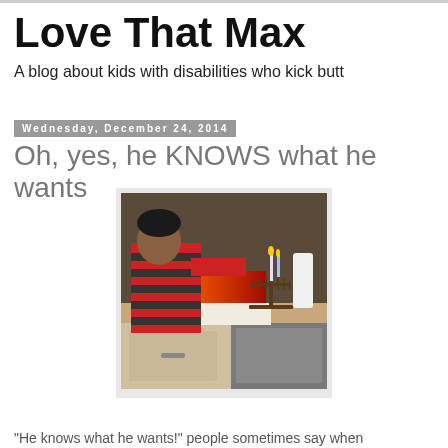Love That Max
A blog about kids with disabilities who kick butt
Wednesday, December 24, 2014
Oh, yes, he KNOWS what he wants
[Figure (photo): A child in red and green striped pajamas reaching toward a book or calendar on a kitchen counter, with a menorah holding lit candles visible to the right.]
"He knows what he wants!" people sometimes say when